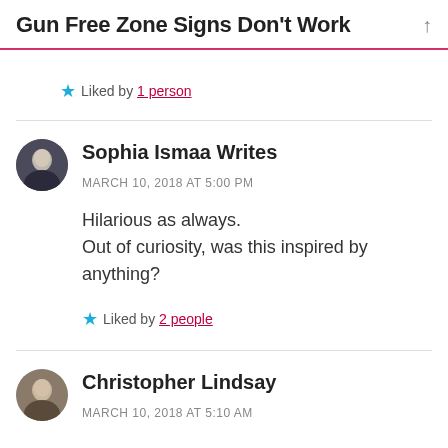Gun Free Zone Signs Don't Work
Liked by 1 person
Sophia Ismaa Writes   MARCH 10, 2018 AT 5:00 PM
Hilarious as always.
Out of curiosity, was this inspired by anything?
Liked by 2 people
Christopher Lindsay   MARCH 10, 2018 AT 5:10 AM